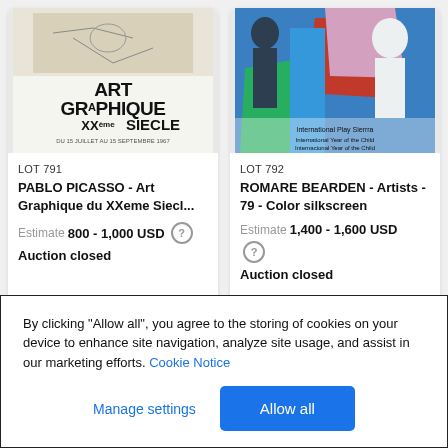[Figure (illustration): Auction lot 791: Art Graphique du XXeme Siecle poster by Pablo Picasso, showing text 'ART GRAPHIQUE XX SIECLE' with a sketch above]
LOT 791
PABLO PICASSO - Art Graphique du XXeme Siecl...
Estimate 800 - 1,000 USD
Auction closed
[Figure (illustration): Auction lot 792: Artists 79 color silkscreen by Romare Bearden, showing colorful figures]
LOT 792
ROMARE BEARDEN - Artists - 79 - Color silkscreen
Estimate 1,400 - 1,600 USD
Auction closed
By clicking “Allow all”, you agree to the storing of cookies on your device to enhance site navigation, analyze site usage, and assist in our marketing efforts. Cookie Notice
Manage settings
Allow all